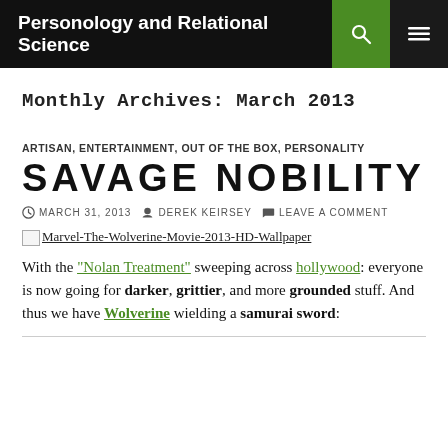Personology and Relational Science
Monthly Archives: March 2013
ARTISAN, ENTERTAINMENT, OUT OF THE BOX, PERSONALITY
SAVAGE NOBILITY
MARCH 31, 2013   DEREK KEIRSEY   LEAVE A COMMENT
[Figure (other): Broken image placeholder for Marvel-The-Wolverine-Movie-2013-HD-Wallpaper]
With the "Nolan Treatment" sweeping across hollywood: everyone is now going for darker, grittier, and more grounded stuff. And thus we have Wolverine wielding a samurai sword: